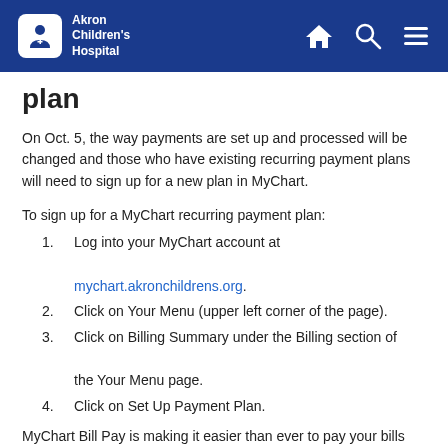Akron Children's Hospital
plan
On Oct. 5, the way payments are set up and processed will be changed and those who have existing recurring payment plans will need to sign up for a new plan in MyChart.
To sign up for a MyChart recurring payment plan:
1. Log into your MyChart account at mychart.akronchildrens.org.
2. Click on Your Menu (upper left corner of the page).
3. Click on Billing Summary under the Billing section of the Your Menu page.
4. Click on Set Up Payment Plan.
MyChart Bill Pay is making it easier than ever to pay your bills